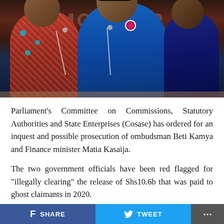[Figure (photo): Two women seated at what appears to be a parliamentary or official committee hearing. The woman on the left wears a red patterned dress, the woman in the center/right wears a blue outfit. A watermark reading 'MONITOR' is faintly visible in the background. Microphones are visible in front of them.]
Parliament's Committee on Commissions, Statutory Authorities and State Enterprises (Cosase) has ordered for an inquest and possible prosecution of ombudsman Beti Kamya and Finance minister Matia Kasaija.
The two government officials have been red flagged for "illegally clearing" the release of Shs10.6b that was paid to ghost claimants in 2020.
The Cosase report that was presented to the House on Thursday, also recommends that Mr Patrick Ocailap, the Deputy Secretary to Treasury, be